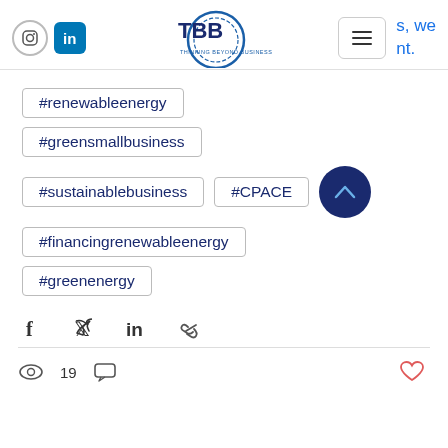[Figure (logo): TBB Thinking Beyond Business logo with blue circular design]
#renewableenergy
#greensmallbusiness
#sustainablebusiness
#CPACE
#financingrenewableenergy
#greenenergy
19
s, we nt.